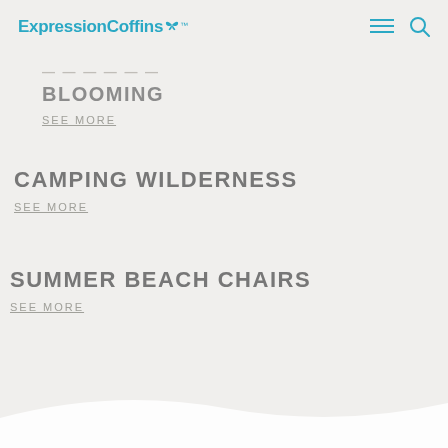ExpressionCoffins
BLOOMING
SEE MORE
CAMPING WILDERNESS
SEE MORE
SUMMER BEACH CHAIRS
SEE MORE